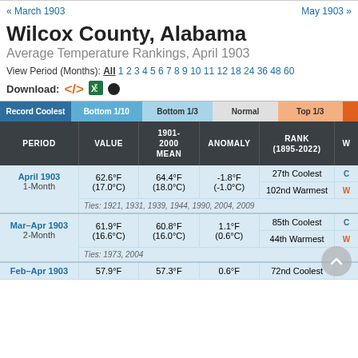« March 1903    May 1903 »
Wilcox County, Alabama
Average Temperature Rankings, April 1903
View Period (Months): All 1 2 3 4 5 6 7 8 9 10 11 12 18 24 36 48 60
Download:
| PERIOD | VALUE | 1901-2000 MEAN | ANOMALY | RANK (1895-2022) | W |
| --- | --- | --- | --- | --- | --- |
| April 1903
1-Month | 62.6°F
(17.0°C) | 64.4°F
(18.0°C) | -1.8°F
(-1.0°C) | 27th Coolest / 102nd Warmest | C
W |
| Ties: 1921, 1931, 1939, 1944, 1990, 2004, 2009 |  |  |  |  |  |
| Mar–Apr 1903
2-Month | 61.9°F
(16.6°C) | 60.8°F
(16.0°C) | 1.1°F
(0.6°C) | 85th Coolest / 44th Warmest | C
W |
| Ties: 1973, 2004 |  |  |  |  |  |
| Feb–Apr 1903 | 57.9°F | 57.3°F | 0.6°F | 72nd Coolest |  |